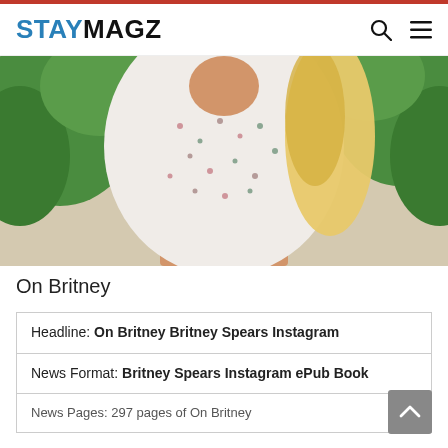STAYMAGZ
[Figure (photo): A blonde woman wearing a white floral/dotted blouse, photographed against a green leafy background. The image is cropped showing torso and partial head with long blonde hair.]
On Britney
| Headline: On Britney Britney Spears Instagram |
| News Format: Britney Spears Instagram ePub Book |
| News Pages: 297 pages of On Britney |